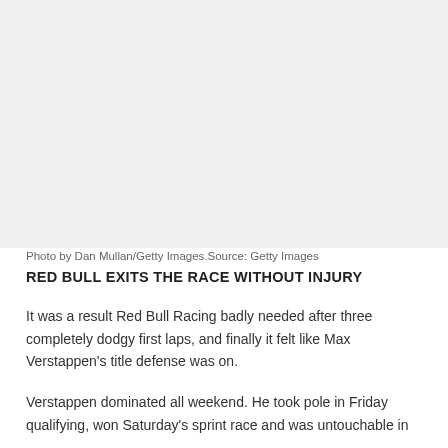[Figure (photo): A photo of a Red Bull Racing car, attributed to Dan Mullan/Getty Images.]
Photo by Dan Mullan/Getty Images.Source: Getty Images
RED BULL EXITS THE RACE WITHOUT INJURY
It was a result Red Bull Racing badly needed after three completely dodgy first laps, and finally it felt like Max Verstappen's title defense was on.
Verstappen dominated all weekend. He took pole in Friday qualifying, won Saturday's sprint race and was untouchable in